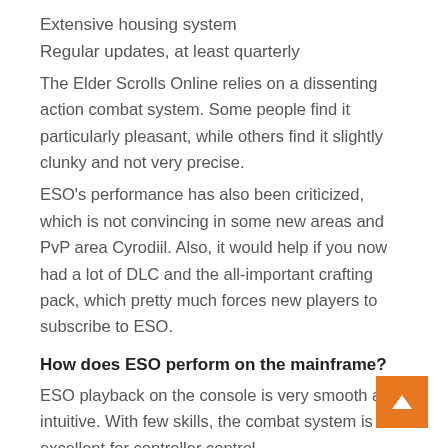Extensive housing system
Regular updates, at least quarterly
The Elder Scrolls Online relies on a dissenting action combat system. Some people find it particularly pleasant, while others find it slightly clunky and not very precise.
ESO's performance has also been criticized, which is not convincing in some new areas and PvP area Cyrodiil. Also, it would help if you now had a lot of DLC and the all-important crafting pack, which pretty much forces new players to subscribe to ESO.
How does ESO perform on the mainframe?
ESO playback on the console is very smooth and intuitive. With few skills, the combat system is excellent for controller control.
Graphically, you can tell that the PS4 and Xbox